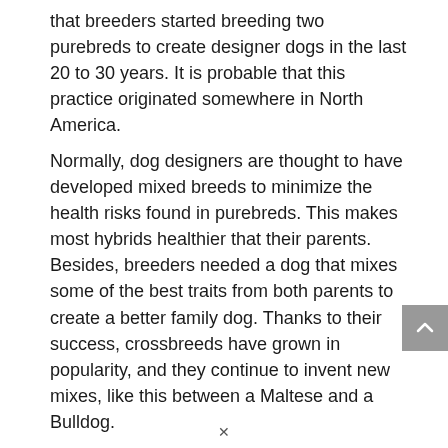that breeders started breeding two purebreds to create designer dogs in the last 20 to 30 years. It is probable that this practice originated somewhere in North America.
Normally, dog designers are thought to have developed mixed breeds to minimize the health risks found in purebreds. This makes most hybrids healthier that their parents. Besides, breeders needed a dog that mixes some of the best traits from both parents to create a better family dog. Thanks to their success, crossbreeds have grown in popularity, and they continue to invent new mixes, like this between a Maltese and a Bulldog.